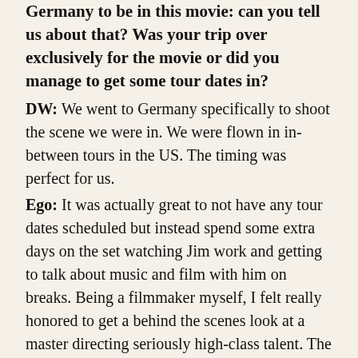Germany to be in this movie: can you tell us about that? Was your trip over exclusively for the movie or did you manage to get some tour dates in?
DW: We went to Germany specifically to shoot the scene we were in. We were flown in in-between tours in the US. The timing was perfect for us.
Ego: It was actually great to not have any tour dates scheduled but instead spend some extra days on the set watching Jim work and getting to talk about music and film with him on breaks. Being a filmmaker myself, I felt really honored to get a behind the scenes look at a master directing seriously high-class talent. The actors were all fun to work with, especially Tilda Swinton who has a wildly infectious creative spirit. In between takes, Dave stepped in and gave her a little acting guidance which she graciously listened to. She's so